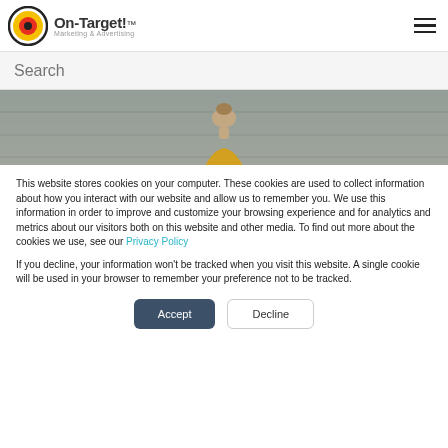[Figure (logo): On-Target! Marketing & Advertising logo with bullseye icon (yellow, red, black circles) and company name]
Search
[Figure (photo): Photo of a young girl with a bun hairstyle wearing yellow, viewed from behind, against a stone wall background]
This website stores cookies on your computer. These cookies are used to collect information about how you interact with our website and allow us to remember you. We use this information in order to improve and customize your browsing experience and for analytics and metrics about our visitors both on this website and other media. To find out more about the cookies we use, see our Privacy Policy
If you decline, your information won't be tracked when you visit this website. A single cookie will be used in your browser to remember your preference not to be tracked.
Accept
Decline